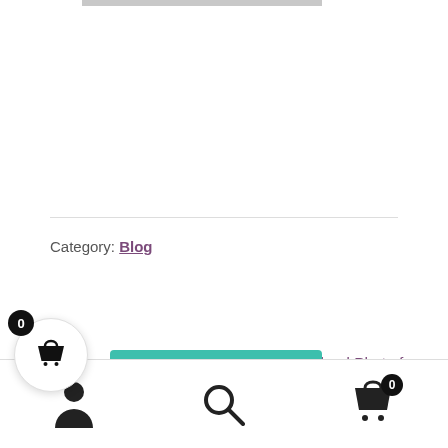Category: Blog
← Download New Version Instagram for PC
Download Photo from Instagram Message →
Recent Posts
[Figure (screenshot): Shopping cart floating button with badge showing 0, and WhatsApp chat button saying 'How can I help you?', plus bottom navigation bar with person icon, search icon, and cart icon with badge 0]